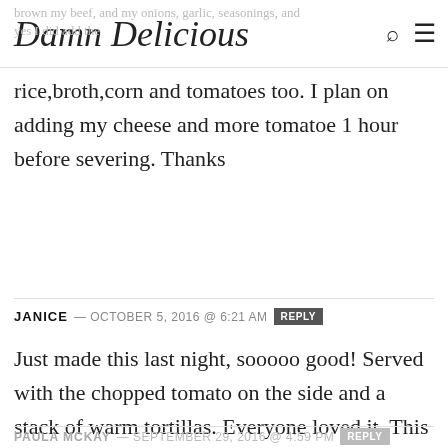Damn Delicious
brown my beef, and my onions, garlic, seasonings, and yes I did add the rice,broth,corn and tomatoes too. I plan on adding my cheese and more tomatoe 1 hour before severing. Thanks
JANICE — OCTOBER 5, 2016 @ 6:21 AM  REPLY
Just made this last night, sooooo good! Served with the chopped tomato on the side and a stack of warm tortillas. Everyone loved it. This is a keeper! Thanks Chungah!
PAULA MCKAY — SEPTEMBER 29, 2016 @ 4:59 PM  REPLY